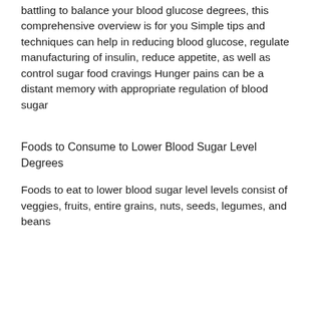battling to balance your blood glucose degrees, this comprehensive overview is for you Simple tips and techniques can help in reducing blood glucose, regulate manufacturing of insulin, reduce appetite, as well as control sugar food cravings Hunger pains can be a distant memory with appropriate regulation of blood sugar
Foods to Consume to Lower Blood Sugar Level Degrees
Foods to eat to lower blood sugar level levels consist of veggies, fruits, entire grains, nuts, seeds, legumes, and beans